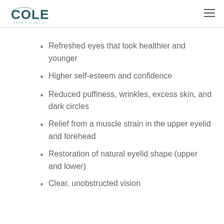Cole Aesthetic Center
Refreshed eyes that look healthier and younger
Higher self-esteem and confidence
Reduced puffiness, wrinkles, excess skin, and dark circles
Relief from a muscle strain in the upper eyelid and forehead
Restoration of natural eyelid shape (upper and lower)
Clear, unobstructed vision